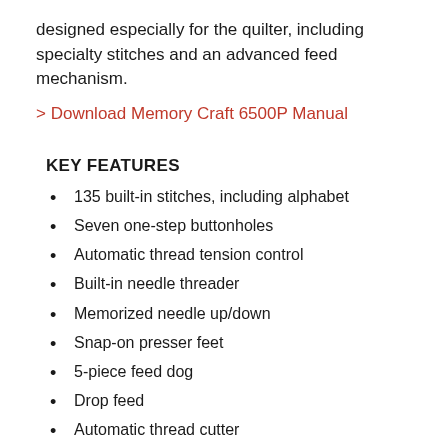designed especially for the quilter, including specialty stitches and an advanced feed mechanism.
> Download Memory Craft 6500P Manual
KEY FEATURES
135 built-in stitches, including alphabet
Seven one-step buttonholes
Automatic thread tension control
Built-in needle threader
Memorized needle up/down
Snap-on presser feet
5-piece feed dog
Drop feed
Automatic thread cutter
Start/stop button